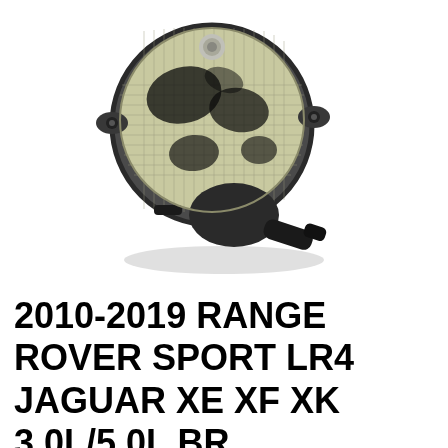[Figure (photo): A used automotive vacuum pump component with a round metallic mesh/screen top cover with black grime/oil residue, mounted on a black housing body with a small outlet port/nipple extending to the lower right. The part appears to be a brake booster vacuum pump.]
2010-2019 RANGE ROVER SPORT LR4 JAGUAR XE XF XK 3.0L/5.0L BR...